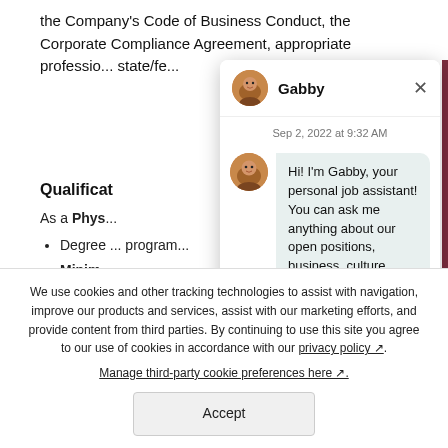the Company's Code of Business Conduct, the Corporate Compliance Agreement, appropriate professional... state/fe...
Qualificat...
As a Phys...
Degree ... program...
[Figure (screenshot): Chat widget overlay with avatar of Gabby, header showing name 'Gabby' and close button, timestamp 'Sep 2, 2022 at 9:32 AM', and chat bubble: 'Hi! I'm Gabby, your personal job assistant! You can ask me anything about our open positions, business, culture, team and more. What are you...']
We use cookies and other tracking technologies to assist with navigation, improve our products and services, assist with our marketing efforts, and provide content from third parties. By continuing to use this site you agree to our use of cookies in accordance with our privacy policy ↗.
Manage third-party cookie preferences here ↗.
Accept